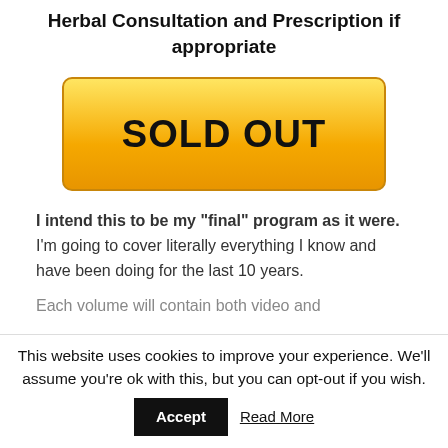Herbal Consultation and Prescription if appropriate
[Figure (other): SOLD OUT button — a large yellow gradient rounded rectangle button with bold black text reading 'SOLD OUT']
I intend this to be my "final" program as it were. I'm going to cover literally everything I know and have been doing for the last 10 years.
Each volume will contain both video and
This website uses cookies to improve your experience. We'll assume you're ok with this, but you can opt-out if you wish.
Accept   Read More